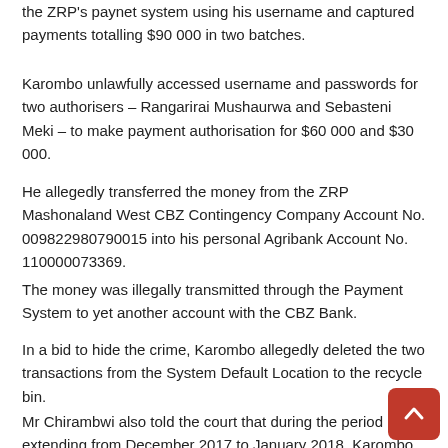the ZRP's paynet system using his username and captured payments totalling $90 000 in two batches.
Karombo unlawfully accessed username and passwords for two authorisers – Rangarirai Mushaurwa and Sebasteni Meki – to make payment authorisation for $60 000 and $30 000.
He allegedly transferred the money from the ZRP Mashonaland West CBZ Contingency Company Account No. 009822980790015 into his personal Agribank Account No. 110000073369.
The money was illegally transmitted through the Payment System to yet another account with the CBZ Bank.
In a bid to hide the crime, Karombo allegedly deleted the two transactions from the System Default Location to the recycle bin.
Mr Chirambwi also told the court that during the period extending from December 2017 to January 2018, Karombo transferred the money through mobile banking (ZIPIT) into bank accounts owned by money changers and received United States dollars in cash.